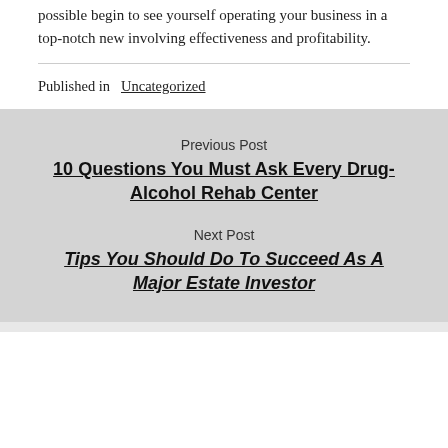possible begin to see yourself operating your business in a top-notch new involving effectiveness and profitability.
Published in Uncategorized
Previous Post
10 Questions You Must Ask Every Drug-Alcohol Rehab Center
Next Post
Tips You Should Do To Succeed As A Major Estate Investor